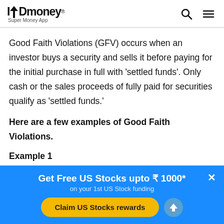INDmoney® Super Money App
Good Faith Violations (GFV) occurs when an investor buys a security and sells it before paying for the initial purchase in full with 'settled funds'. Only cash or the sales proceeds of fully paid for securities qualify as 'settled funds.'
Here are a few examples of Good Faith Violations.
Example 1
Get Free US Stocks upto ₹ 1000* on your 1st US Stock funding
Claim US Stocks rewards